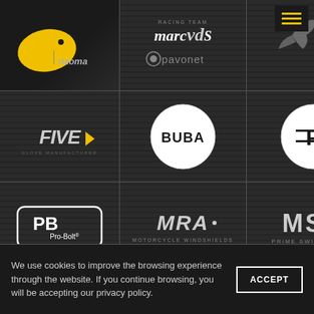[Figure (logo): Rizoma brand logo - yellow cat/panther with stylized text 'rizoma' in dark background]
[Figure (logo): Marc VDS Racing Team logo above Pavonet logo]
[Figure (logo): Taleo Tecnoracing logo with bird/eagle graphic]
[Figure (logo): FIVE gloves logo in stylized text]
[Figure (logo): BUBA logo in circular white badge]
[Figure (logo): Pascucci logo in circular white badge]
[Figure (logo): Pro-Bolt PB logo in rectangular badge]
[Figure (logo): MRA Motorcycle Windshields logo]
[Figure (logo): MSR Prime Switzerland logo]
We use cookies to improve the browsing experience through the website. If you continue browsing, you will be accepting our privacy policy.
ACCEPT